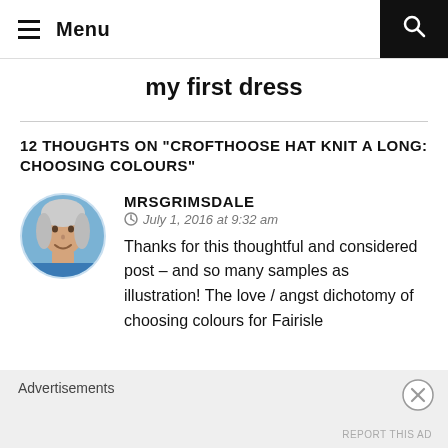Menu
my first dress
12 THOUGHTS ON "CROFTHOOSE HAT KNIT A LONG: CHOOSING COLOURS"
MRSGRIMSDALE
July 1, 2016 at 9:32 am
Thanks for this thoughtful and considered post – and so many samples as illustration! The love / angst dichotomy of choosing colours for Fairisle
Advertisements